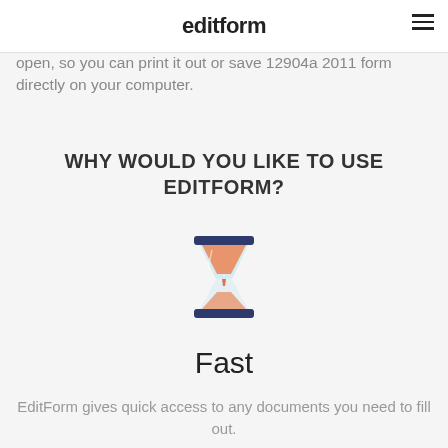editform
open, so you can print it out or save 12904a 2011 form directly on your computer.
WHY WOULD YOU LIKE TO USE EDITFORM?
[Figure (illustration): Hourglass icon with blue top and bottom caps, orange/coral sand in the middle, light blue gradient background area inside the glass.]
Fast
EditForm gives quick access to any documents you need to fill out.